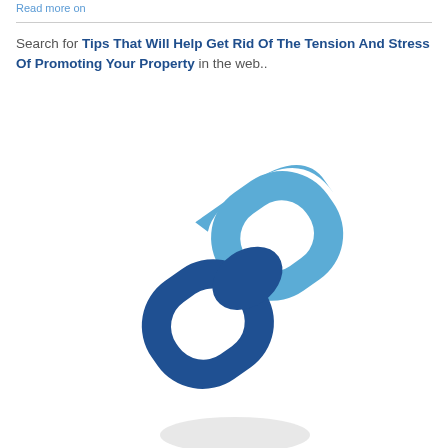Read more on
Search for Tips That Will Help Get Rid Of The Tension And Stress Of Promoting Your Property in the web..
[Figure (illustration): Two interlinked chain link icons rendered in blue tones (light blue top link, dark blue bottom link), tilted diagonally, with a partial grey reflection visible at the bottom.]